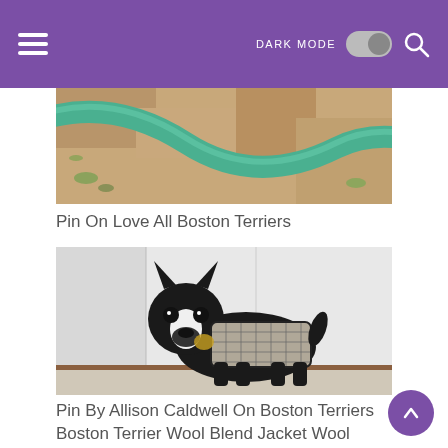DARK MODE [toggle] [search icon]
[Figure (photo): Partial cropped image showing a green garden hose on dirt/grass ground]
Pin On Love All Boston Terriers
[Figure (photo): A black and white Boston Terrier dog wearing a grey plaid wool blend jacket, standing indoors against a white wall]
Pin By Allison Caldwell On Boston Terriers Boston Terrier Wool Blend Jacket Wool Plaid